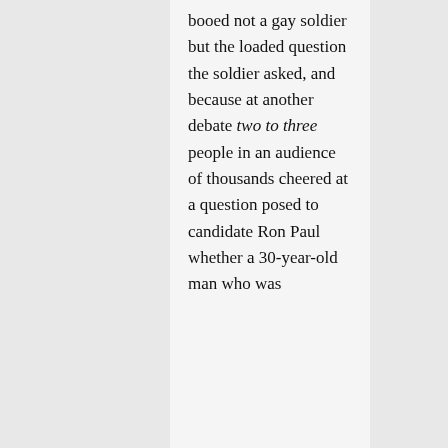booed not a gay soldier but the loaded question the soldier asked, and because at another debate two to three people in an audience of thousands cheered at a question posed to candidate Ron Paul whether a 30-year-old man who was